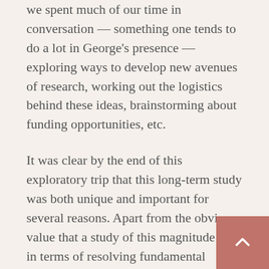we spent much of our time in conversation — something one tends to do a lot in George's presence — exploring ways to develop new avenues of research, working out the logistics behind these ideas, brainstorming about funding opportunities, etc.
It was clear by the end of this exploratory trip that this long-term study was both unique and important for several reasons. Apart from the obvious value that a study of this magnitude has in terms of resolving fundamental questions about bird ecology, behavior and adaptation and about ecosystem structure, and as well as the rarity of such studies in an extreme environment like the Arctic, the location, time-fame and subject of this study propel it to another level entirely. Through the continued study of this bird population and its environment we have